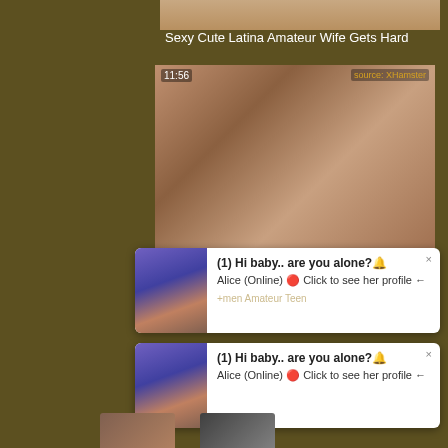[Figure (screenshot): Adult video website screenshot showing video thumbnails and notification popups with text '(1) Hi baby.. are you alone?' from Alice (Online)]
Sexy Cute Latina Amateur Wife Gets Hard
(1) Hi baby.. are you alone?🔔
Alice (Online) 🔴 Click to see her profile ←
(1) Hi baby.. are you alone?🔔
Alice (Online) 🔴 Click to see her profile ←